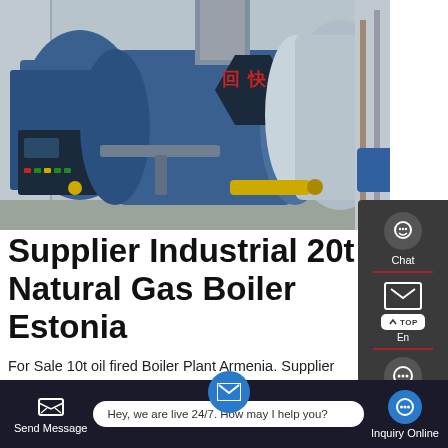[Figure (photo): Industrial boiler plant with large blue cylindrical boilers, control panels, and piping. Chinese characters visible on equipment. Factory/industrial setting.]
Supplier Industrial 20t Natural Gas Boiler Estonia
For Sale 10t oil fired Boiler Plant Armenia. Supplier Industrial 2t Natural Gas fired boiler Armenia. 2t Natural Gas Industrial Manufacturer Natural Gas Hot Water 0 1t/h-20t/h heavy steam
[Figure (screenshot): Website UI overlay with side contact panel (Chat, Email, Contact buttons), bottom navigation bar with Send Message, live chat bubble ('Hey, we are live 24/7. How may I help you?'), and Inquiry Online button.]